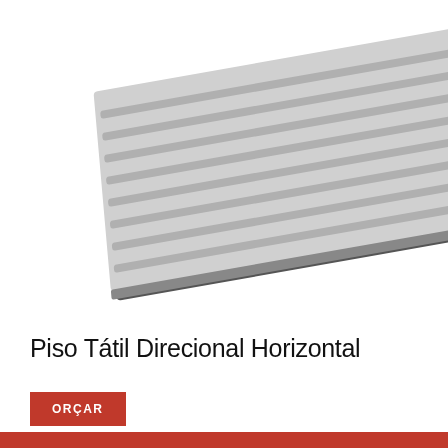[Figure (photo): Piso Tátil Direcional Horizontal tile product photo - grayscale image of directional tactile paving tiles shown at an angle]
Piso Tátil Direcional Horizontal
ORÇAR
Este site usa cookies para melhorar sua experiência. Ao clicar em 'Aceitar e Fechar' você concorda com o uso dos cookies, termos e políticas do site.
Aceitar e Fechar